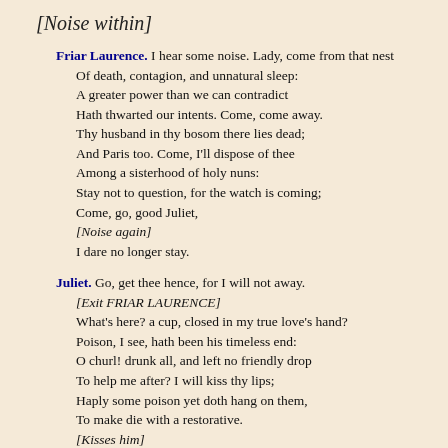[Noise within]
Friar Laurence. I hear some noise. Lady, come from that nest
Of death, contagion, and unnatural sleep:
A greater power than we can contradict
Hath thwarted our intents. Come, come away.
Thy husband in thy bosom there lies dead;
And Paris too. Come, I'll dispose of thee
Among a sisterhood of holy nuns:
Stay not to question, for the watch is coming;
Come, go, good Juliet,
[Noise again]
I dare no longer stay.
Juliet. Go, get thee hence, for I will not away.
[Exit FRIAR LAURENCE]
What's here? a cup, closed in my true love's hand?
Poison, I see, hath been his timeless end:
O churl! drunk all, and left no friendly drop
To help me after? I will kiss thy lips;
Haply some poison yet doth hang on them,
To make die with a restorative.
[Kisses him]
Thy lips are warm.
First Watchman. [Within] Lead, boy: which way?